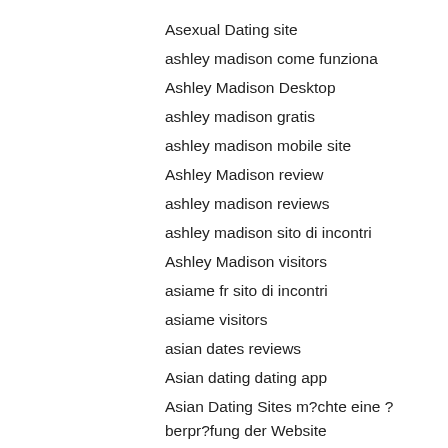Asexual Dating site
ashley madison come funziona
Ashley Madison Desktop
ashley madison gratis
ashley madison mobile site
Ashley Madison review
ashley madison reviews
ashley madison sito di incontri
Ashley Madison visitors
asiame fr sito di incontri
asiame visitors
asian dates reviews
Asian dating dating app
Asian Dating Sites m?chte eine ?berpr?fung der Website
Asian Dating Sites site
Asian Dating Sites username
Asian Dating Sites wil app